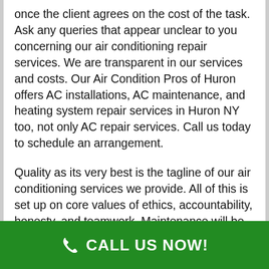once the client agrees on the cost of the task. Ask any queries that appear unclear to you concerning our air conditioning repair services. We are transparent in our services and costs. Our Air Condition Pros of Huron offers AC installations, AC maintenance, and heating system repair services in Huron NY too, not only AC repair services. Call us today to schedule an arrangement.
Quality as its very best is the tagline of our air conditioning services we provide. All of this is set up on core values of ethics, accountability, honesty, and teamwork. Maintenance will be started after a quotation is conducted our AC repair technicians in your Huron NY. The specialists will start the works once the customer confirms on the cost of the work. Ask any questions that seem unclear to you concerning our air conditioning repair services. We are transparent in our services and prices. In Huron NY, our Air Condition Pros of Huron does not offer only AC repairs services but extends it to AC
CALL US NOW!